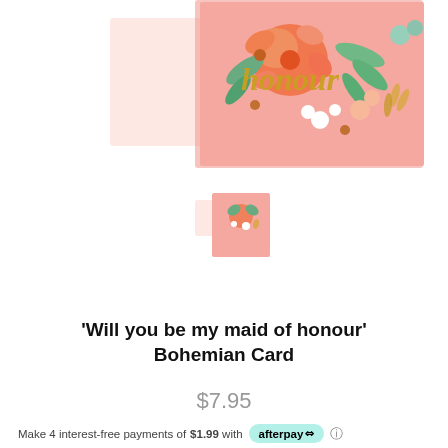[Figure (photo): Product photo of a pink bohemian greeting card with floral design and gold 'honour' script text, shown with envelope. A small thumbnail of the same card is shown below.]
'Will you be my maid of honour' Bohemian Card
$7.95
Make 4 interest-free payments of $1.99 with afterpay